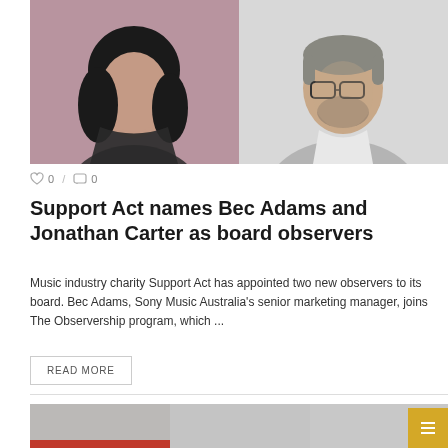[Figure (photo): Two headshot photos side by side: a woman on the left against a dark pink/mauve background, and a man with glasses on the right against a light gray background]
0 / 0
Support Act names Bec Adams and Jonathan Carter as board observers
Music industry charity Support Act has appointed two new observers to its board. Bec Adams, Sony Music Australia’s senior marketing manager, joins The Observership program, which ...
READ MORE
[Figure (photo): Partial bottom image strip, partially visible, with a red bar overlay at bottom left]